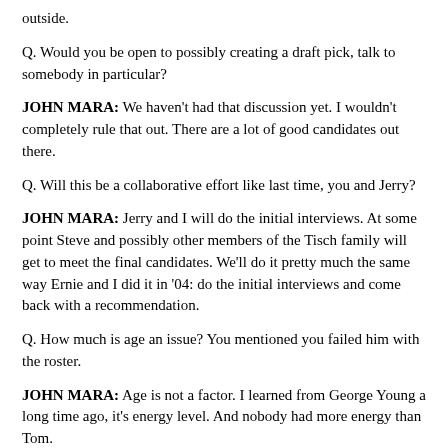outside.
Q. Would you be open to possibly creating a draft pick, talk to somebody in particular?
JOHN MARA: We haven't had that discussion yet. I wouldn't completely rule that out. There are a lot of good candidates out there.
Q. Will this be a collaborative effort like last time, you and Jerry?
JOHN MARA: Jerry and I will do the initial interviews. At some point Steve and possibly other members of the Tisch family will get to meet the final candidates. We'll do it pretty much the same way Ernie and I did it in '04: do the initial interviews and come back with a recommendation.
Q. How much is age an issue? You mentioned you failed him with the roster.
JOHN MARA: Age is not a factor. I learned from George Young a long time ago, it's energy level. And nobody had more energy than Tom.
Q. You heard what current and former players have had to say